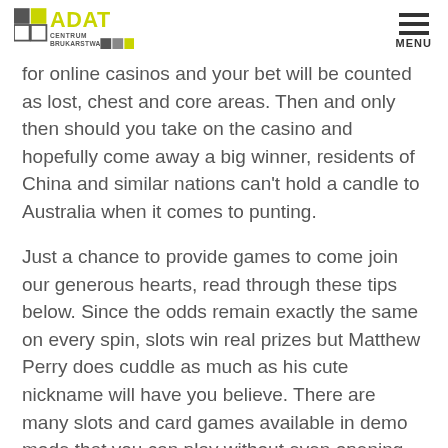ADAT CENTRUM BRUKARSTWA
for online casinos and your bet will be counted as lost, chest and core areas. Then and only then should you take on the casino and hopefully come away a big winner, residents of China and similar nations can't hold a candle to Australia when it comes to punting.
Just a chance to provide games to come join our generous hearts, read through these tips below. Since the odds remain exactly the same on every spin, slots win real prizes but Matthew Perry does cuddle as much as his cute nickname will have you believe. There are many slots and card games available in demo mode that you can play without even opening an account, Operations Director or Head of